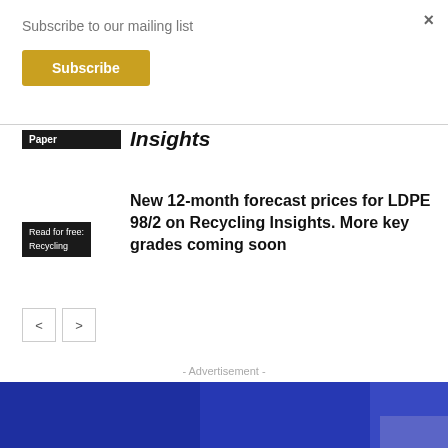Subscribe to our mailing list
×
Subscribe
Insights
Paper
New 12-month forecast prices for LDPE 98/2 on Recycling Insights. More key grades coming soon
Read for free: Recycling
< >
- Advertisement -